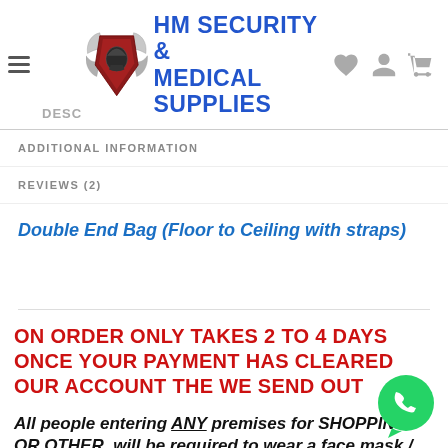HM SECURITY & MEDICAL SUPPLIES
ADDITIONAL INFORMATION
REVIEWS (2)
Double End Bag (Floor to Ceiling with straps)
ON ORDER ONLY TAKES 2 TO 4 DAYS ONCE YOUR PAYMENT HAS CLEARED OUR ACCOUNT THE WE SEND OUT
All people entering ANY premises for SHOPPING OR OTHER, will be required to wear a face mask / FACE SHIELD and HAVE THEIR
[Figure (logo): WhatsApp chat bubble icon in green circle]